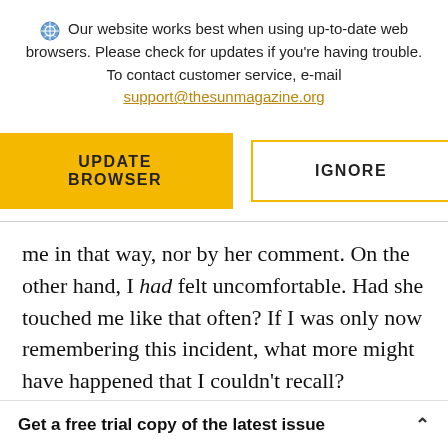Our website works best when using up-to-date web browsers. Please check for updates if you're having trouble. To contact customer service, e-mail support@thesunmagazine.org
UPDATE BROWSER | IGNORE
me in that way, nor by her comment. On the other hand, I had felt uncomfortable. Had she touched me like that often? If I was only now remembering this incident, what more might have happened that I couldn't recall? Sexually, I
Get a free trial copy of the latest issue